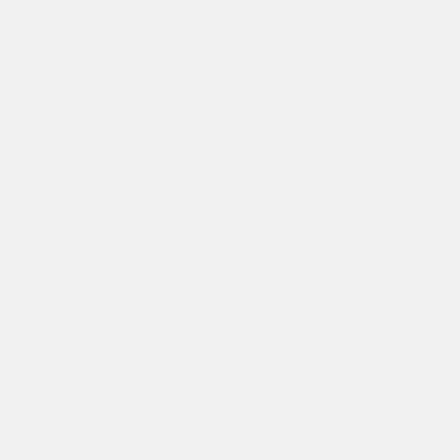[Figure (other): Gray background main content area, left portion of page]
+owth. Hemangiomasthat b